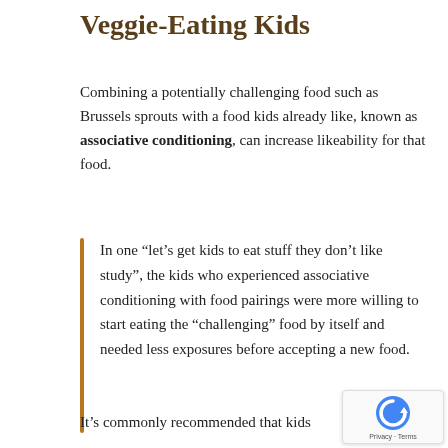Veggie-Eating Kids
Combining a potentially challenging food such as Brussels sprouts with a food kids already like, known as associative conditioning, can increase likeability for that food.
In one “let’s get kids to eat stuff they don’t like study”, the kids who experienced associative conditioning with food pairings were more willing to start eating the “challenging” food by itself and needed less exposures before accepting a new food.
It’s commonly recommended that kids